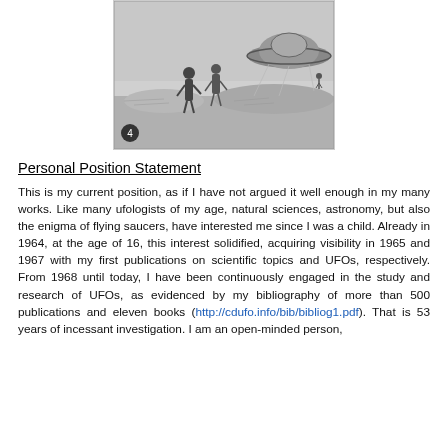[Figure (illustration): Black and white comic/illustration showing figures of people near a large saucer-shaped UFO in a landscape. Number 4 appears in bottom left corner.]
Personal Position Statement
This is my current position, as if I have not argued it well enough in my many works. Like many ufologists of my age, natural sciences, astronomy, but also the enigma of flying saucers, have interested me since I was a child. Already in 1964, at the age of 16, this interest solidified, acquiring visibility in 1965 and 1967 with my first publications on scientific topics and UFOs, respectively. From 1968 until today, I have been continuously engaged in the study and research of UFOs, as evidenced by my bibliography of more than 500 publications and eleven books (http://cdufo.info/bib/bibliog1.pdf). That is 53 years of incessant investigation. I am an open-minded person,